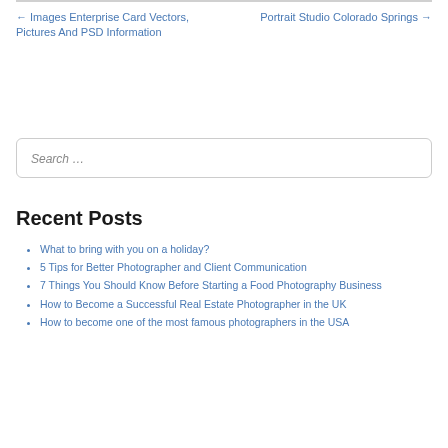← Images Enterprise Card Vectors, Pictures And PSD Information
Portrait Studio Colorado Springs →
Search ...
Recent Posts
What to bring with you on a holiday?
5 Tips for Better Photographer and Client Communication
7 Things You Should Know Before Starting a Food Photography Business
How to Become a Successful Real Estate Photographer in the UK
How to become one of the most famous photographers in the USA